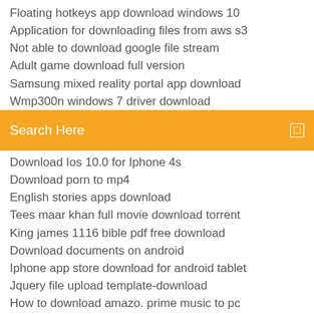Floating hotkeys app download windows 10
Application for downloading files from aws s3
Not able to download google file stream
Adult game download full version
Samsung mixed reality portal app download
Wmp300n windows 7 driver download
[Figure (other): Orange search bar with text 'Search Here' and a small square icon on the right]
Download Ios 10.0 for Iphone 4s
Download porn to mp4
English stories apps download
Tees maar khan full movie download torrent
King james 1116 bible pdf free download
Download documents on android
Iphone app store download for android tablet
Jquery file upload template-download
How to download amazo. prime music to pc
Torrent download books jimmi hendrix live at woodstock
Teorie toros download torrent